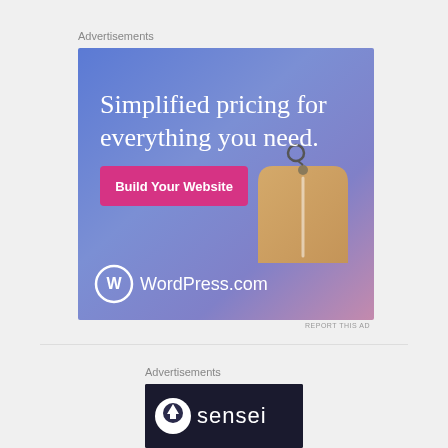Advertisements
[Figure (illustration): WordPress.com advertisement with blue-purple gradient background, price tag illustration, text 'Simplified pricing for everything you need.', pink 'Build Your Website' button, and WordPress.com logo with wordmark.]
REPORT THIS AD
Advertisements
[Figure (logo): Sensei advertisement with dark background showing Sensei logo (tree/cloud icon in circle) and wordmark 'sensei' in white text.]